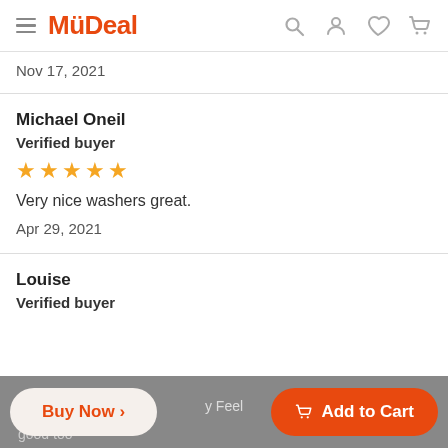MyDeal
Nov 17, 2021
Michael Oneil
Verified buyer
★★★★★
Very nice washers great.
Apr 29, 2021
Louise
Verified buyer
Buy Now >
Add to Cart
good too